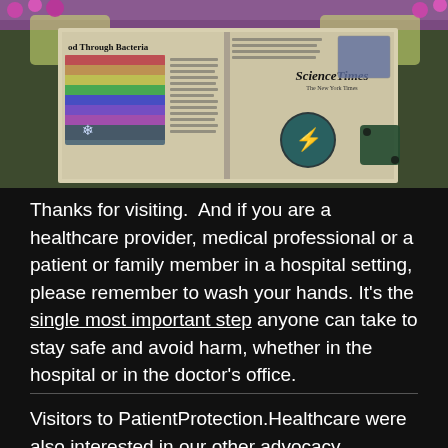[Figure (photo): Person holding up a Science Times newspaper (The New York Times) showing articles and diagrams, with pink flowers visible in the background]
Thanks for visiting.  And if you are a healthcare provider, medical professional or a patient or family member in a hospital setting, please remember to wash your hands. It's the single most important step anyone can take to stay safe and avoid harm, whether in the hospital or in the doctor's office.
Visitors to PatientProtection.Healthcare were also interested in our other advocacy sites: